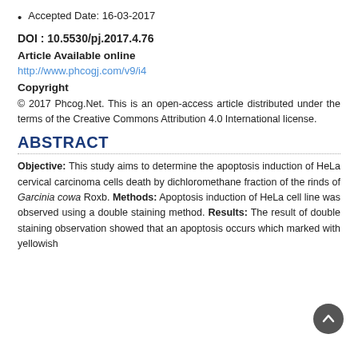Accepted Date: 16-03-2017
DOI : 10.5530/pj.2017.4.76
Article Available online
http://www.phcogj.com/v9/i4
Copyright
© 2017 Phcog.Net. This is an open-access article distributed under the terms of the Creative Commons Attribution 4.0 International license.
ABSTRACT
Objective: This study aims to determine the apoptosis induction of HeLa cervical carcinoma cells death by dichloromethane fraction of the rinds of Garcinia cowa Roxb. Methods: Apoptosis induction of HeLa cell line was observed using a double staining method. Results: The result of double staining observation showed that an apoptosis occurs which marked with yellowish